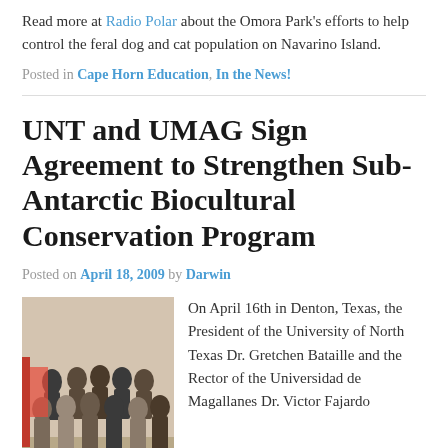Read more at Radio Polar about the Omora Park's efforts to help control the feral dog and cat population on Navarino Island.
Posted in Cape Horn Education, In the News!
UNT and UMAG Sign Agreement to Strengthen Sub-Antarctic Biocultural Conservation Program
Posted on April 18, 2009 by Darwin
[Figure (photo): Group photo of university delegates gathered together in Denton, Texas for the signing agreement event.]
On April 16th in Denton, Texas, the President of the University of North Texas Dr. Gretchen Bataille and the Rector of the Universidad de Magallanes Dr. Victor Fajardo